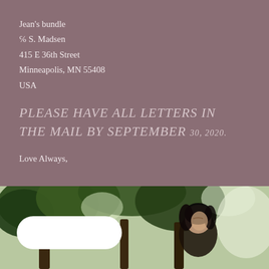Jean's bundle
℅ S. Madsen
415 E 36th Street
Minneapolis, MN 55408
USA
PLEASE HAVE ALL LETTERS IN THE MAIL BY SEPTEMBER 30, 2020.
Love Always,

LucyLu
[Figure (photo): Outdoor photo of a person with dark hair outdoors near trees, with a white pill-shaped overlay element in the lower left of the photo.]